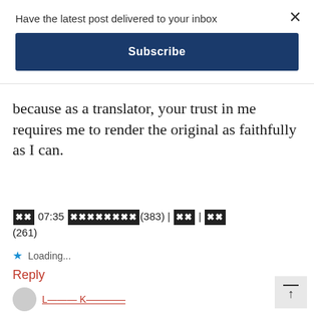Have the latest post delivered to your inbox
Subscribe
because as a translator, your trust in me requires me to render the original as faithfully as I can.
[Japanese text characters]
[redacted] 07:35 [redacted](383) | [redacted] | [redacted] (261)
★ Loading...
Reply